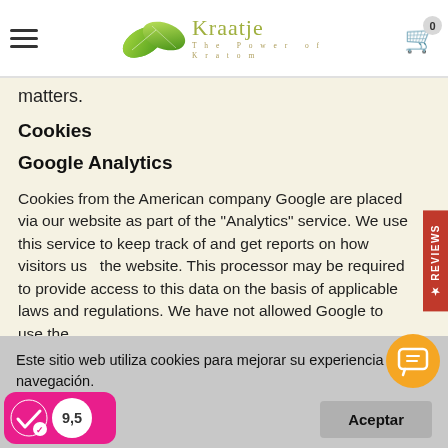Kraatje — The Power of Kratom
matters.
Cookies
Google Analytics
Cookies from the American company Google are placed via our website as part of the "Analytics" service. We use this service to keep track of and get reports on how visitors use the website. This processor may be required to provide access to this data on the basis of applicable laws and regulations. We have not allowed Google to use the
Este sitio web utiliza cookies para mejorar su experiencia de navegación.
Mas Detalles
Aceptar